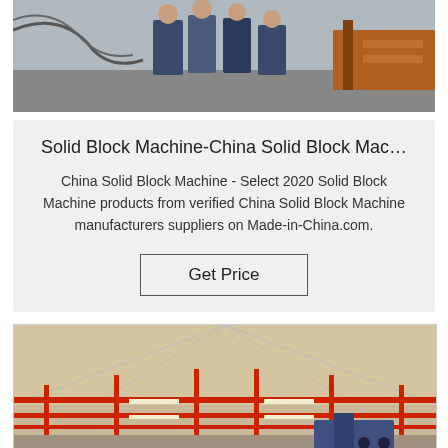[Figure (photo): Photo of people standing near industrial machinery, partially cropped at top]
Solid Block Machine-China Solid Block Mac…
China Solid Block Machine - Select 2020 Solid Block Machine products from verified China Solid Block Machine manufacturers suppliers on Made-in-China.com.
Get Price
[Figure (photo): Photo of industrial factory interior with red steel frame structure and ceiling lights]